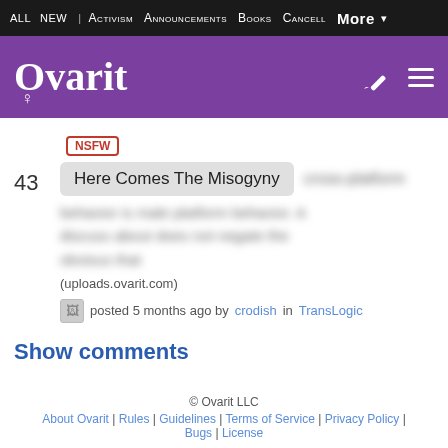ALL | NEW | ACTIVISM | ANNOUNCEMENTS | BOOKS | CANCELL | MORE
[Figure (logo): Ovarit website logo — white text on purple background with female symbol]
NSFW
43  Here Comes The Misogyny [blurred text] (uploads.ovarit.com) posted 5 months ago by crodish in TransLogic
Show comments
© Ovarit LLC | About Ovarit | Rules | Guidelines | Terms of Service | Privacy Policy | Bugs | License